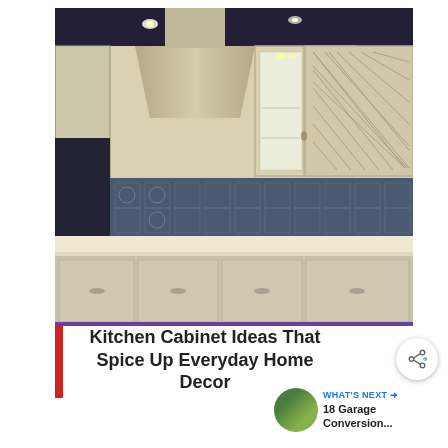[Figure (photo): Kitchen interior photo showing cream/beige cabinets with glass front upper cabinets, a decorative range hood, patterned tile backsplash, built-in oven, and lower drawers with silver handles. Dark ceiling with recessed lighting.]
Kitchen Cabinet Ideas That Spice Up Everyday Home Decor
[Figure (other): Share button (circular icon with share symbol)]
[Figure (other): WHAT'S NEXT → thumbnail with text: 18 Garage Conversion...]